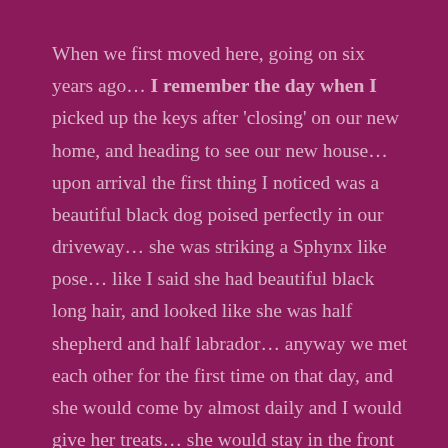When we first moved here, going on six years ago… I remember the day when I picked up the keys after 'closing' on our new home, and heading to see our new house… upon arrival the first thing I noticed was a beautiful black dog poised perfectly in our driveway… she was striking a Sphynx like pose… like I said she had beautiful black long hair, and looked like she was half shepherd and half labrador… anyway we met each other for the first time on that day, and she would come by almost daily and I would give her treats… she would stay in the front yard as we had another dog that lived inside with us, and he was kind of aggressive so I couldn't let her in at that time.

Fast forward up until about one year ago when we lost